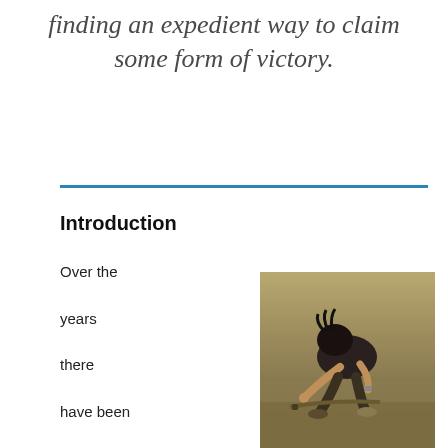finding an expedient way to claim some form of victory.
Introduction
Over the years there have been many Western-centric interpreta
[Figure (photo): A person in dark clothing crouching or kneeling on dry ground, appearing to handle an object on the ground.]